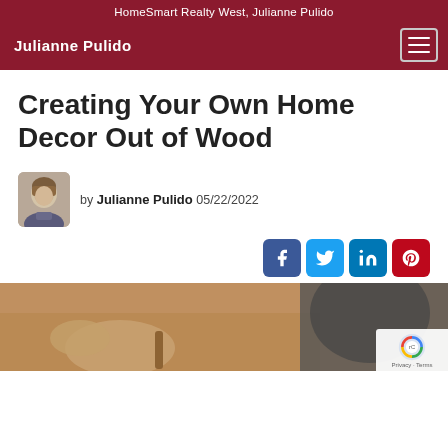HomeSmart Realty West, Julianne Pulido
Julianne Pulido
Creating Your Own Home Decor Out of Wood
by Julianne Pulido 05/22/2022
[Figure (screenshot): Social media share icons: Facebook, Twitter, LinkedIn, Pinterest]
[Figure (photo): A person working with wood, hands visible holding a tool, carpentry/woodworking scene]